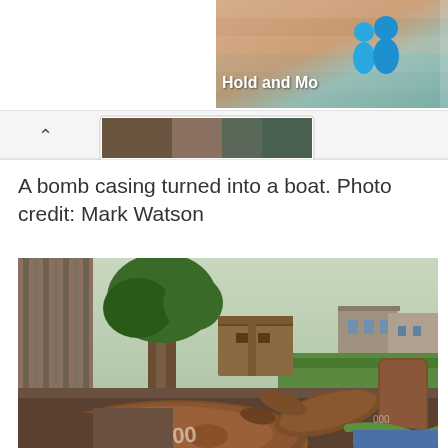[Figure (screenshot): Top right banner with peach/teal gradient background showing two blue human figure icons and bold white text 'Hold and Mo...' (truncated)]
[Figure (screenshot): Navigation bar with a caret/arrow and a tab showing a partial image of bomb casings/rusty objects]
A bomb casing turned into a boat. Photo credit: Mark Watson
[Figure (photo): Photograph showing several large rusted bomb casings lying on the ground near a tree and wooden crate, with green grass and buildings visible in the background. A number '1000' is partially visible on the foreground bomb casing.]